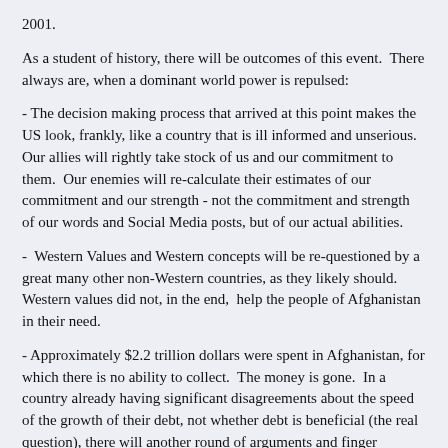2001.
As a student of history, there will be outcomes of this event.  There always are, when a dominant world power is repulsed:
- The decision making process that arrived at this point makes the US look, frankly, like a country that is ill informed and unserious. Our allies will rightly take stock of us and our commitment to them.  Our enemies will re-calculate their estimates of our commitment and our strength - not the commitment and strength of our words and Social Media posts, but of our actual abilities.
-  Western Values and Western concepts will be re-questioned by a great many other non-Western countries, as they likely should. Western values did not, in the end,  help the people of Afghanistan in their need.
- Approximately $2.2 trillion dollars were spent in Afghanistan, for which there is no ability to collect.  The money is gone.  In a country already having significant disagreements about the speed of the growth of their debt, not whether debt is beneficial (the real question), there will another round of arguments and finger pointing.